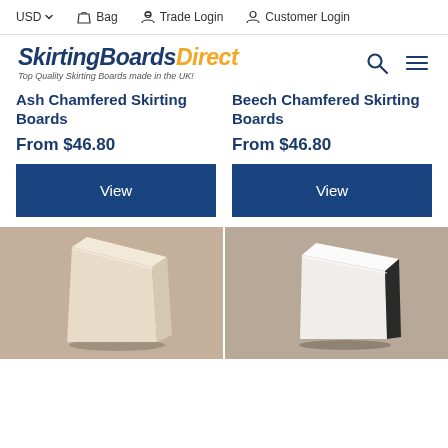USD  Bag  Trade Login  Customer Login
[Figure (logo): SkirtingBoardsDirect logo with tagline: Top Quality Skirting Boards made in the UK!]
Ash Chamfered Skirting Boards
From $46.80
View
Beech Chamfered Skirting Boards
From $46.80
View
[Figure (photo): Ash chamfered skirting board product photo showing a cream/beige angled board]
[Figure (photo): Beech chamfered skirting board product photo showing a white angled board with dark edge]